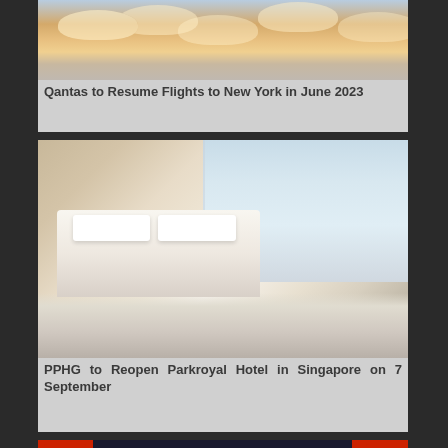[Figure (photo): Sky with clouds at sunset, orange and golden tones]
Qantas to Resume Flights to New York in June 2023
[Figure (photo): Luxury hotel room with a large bed, wooden headboard, and city view through large windows, desk and chair visible]
PPHG to Reopen Parkroyal Hotel in Singapore on 7 September
[Figure (photo): World Rugby HSBC Series Champions 2022 banner in red and dark blue]